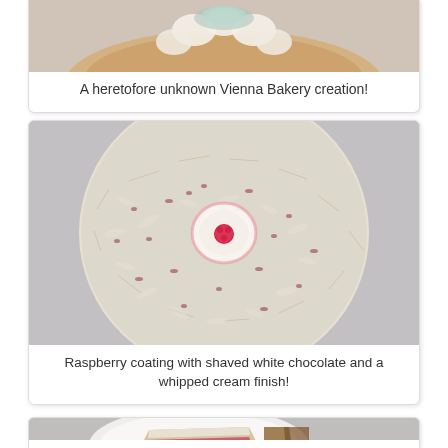[Figure (photo): Top portion of a pastry/tart with whipped cream on a scalloped crust, partially visible at top of page]
A heretofore unknown Vienna Bakery creation!
[Figure (photo): Top-down view of a round cake covered in shaved white chocolate with raspberry coating and a whipped cream finish with a single raspberry in the center]
Raspberry coating with shaved white chocolate and a whipped cream finish!
[Figure (photo): A slice of layered cake on a white plate with raspberry and coconut layers, partially visible at bottom of page]